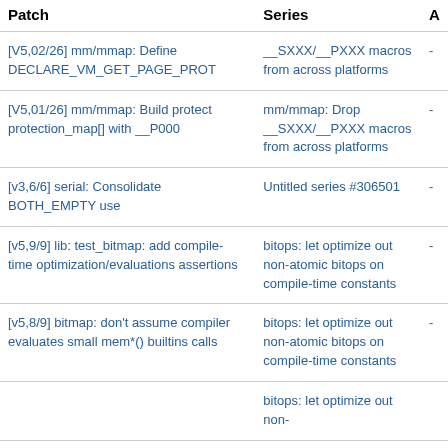| Patch | Series | A |
| --- | --- | --- |
| [V5,02/26] mm/mmap: Define DECLARE_VM_GET_PAGE_PROT | __SXXX/__PXXX macros from across platforms | - |
| [V5,01/26] mm/mmap: Build protect protection_map[] with __P000 | mm/mmap: Drop __SXXX/__PXXX macros from across platforms | - |
| [v3,6/6] serial: Consolidate BOTH_EMPTY use | Untitled series #306501 | - |
| [v5,9/9] lib: test_bitmap: add compile-time optimization/evaluations assertions | bitops: let optimize out non-atomic bitops on compile-time constants | - |
| [v5,8/9] bitmap: don't assume compiler evaluates small mem*() builtins calls | bitops: let optimize out non-atomic bitops on compile-time constants | - |
|  | bitops: let optimize out non- |  |